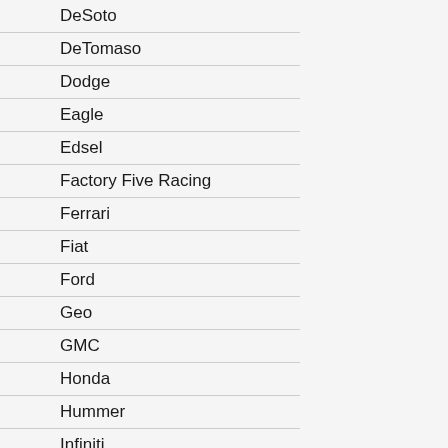DeSoto
DeTomaso
Dodge
Eagle
Edsel
Factory Five Racing
Ferrari
Fiat
Ford
Geo
GMC
Honda
Hummer
Infiniti
International Harvester
Isuzu
Jaguar
Jeep